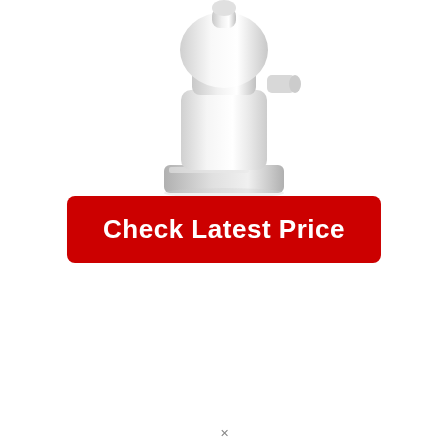[Figure (photo): A white plastic product (appears to be a baby bottle or similar white plastic bottle/device) photographed on a white background, partially visible at the top of the image]
Check Latest Price